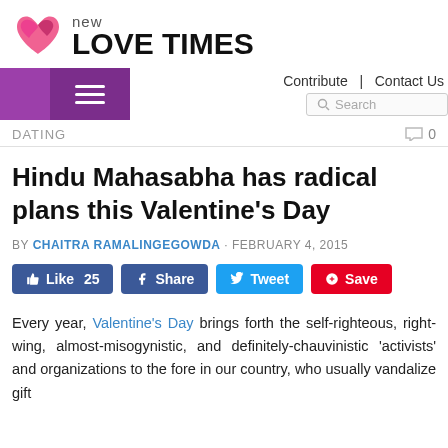[Figure (logo): New Love Times logo with pink heart graphic and text 'new LOVE TIMES']
Navigation bar with hamburger menu, Contribute | Contact Us links, and Search box
DATING   0
Hindu Mahasabha has radical plans this Valentine's Day
BY CHAITRA RAMALINGEGOWDA · FEBRUARY 4, 2015
Like 25  Share  Tweet  Save
Every year, Valentine's Day brings forth the self-righteous, right-wing, almost-misogynistic, and definitely-chauvinistic 'activists' and organizations to the fore in our country, who usually vandalize gift